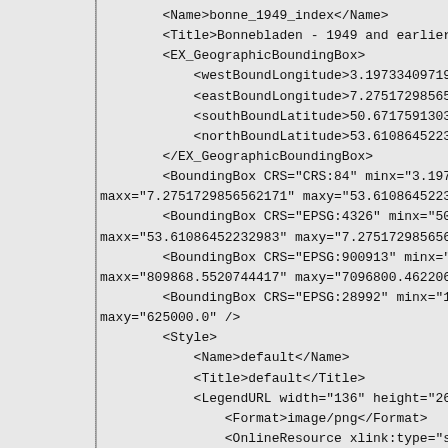<Name>bonne_1949_index</Name>
<Title>Bonnebladen - 1949 and earlier - index - po
<EX_GeographicBoundingBox>
    <westBoundLongitude>3.197334097192477</westBound
    <eastBoundLongitude>7.27517298562171</eastBound
    <southBoundLatitude>50.67175913030053</southBour
    <northBoundLatitude>53.61086452232983</northBour
</EX_GeographicBoundingBox>
<BoundingBox CRS="CRS:84" minx="3.197334097192477"
maxx="7.2751729856562171" maxy="53.61086452232983" />
<BoundingBox CRS="EPSG:4326" minx="50.671759130300
maxx="53.61086452232983" maxy="7.2751729856562171" />
<BoundingBox CRS="EPSG:900913" minx="355925.603595
maxx="809868.5520744417" maxy="7096800.462206264" />
<BoundingBox CRS="EPSG:28992" minx="10000.0" miny=
maxy="625000.0" />
<Style>
    <Name>default</Name>
    <Title>default</Title>
    <LegendURL width="136" height="26">
        <Format>image/png</Format>
        <OnlineResource xlink:type="simple"
xlink:href="http://05f808748f32:8080/map/gast/service?fo
/>
        </LegendURL>
    </Style>
</Layer>
<Layer>
    <Name>brtbgt</Name>